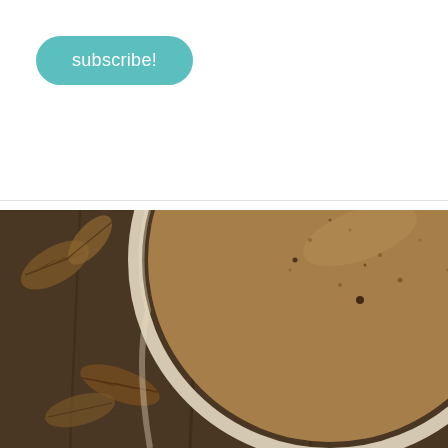subscribe!
[Figure (photo): Overhead view of a coffee drink in a white cup with frothy brown surface, surrounded by dried autumn leaves on a rustic wooden background. Dark moody tones.]